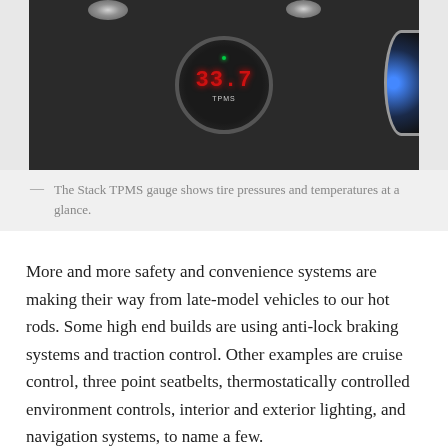[Figure (photo): Close-up photo of a Stack TPMS (Tire Pressure Monitoring System) gauge showing a red digital readout of 33.7, mounted in a dark dashboard panel, with partial view of a blue-lit gauge on the right.]
— The Stack TPMS gauge shows tire pressures and temperatures at a glance.
More and more safety and convenience systems are making their way from late-model vehicles to our hot rods. Some high end builds are using anti-lock braking systems and traction control. Other examples are cruise control, three point seatbelts, thermostatically controlled environment controls, interior and exterior lighting, and navigation systems, to name a few.